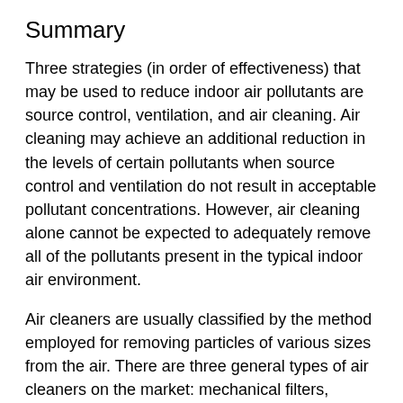Summary
Three strategies (in order of effectiveness) that may be used to reduce indoor air pollutants are source control, ventilation, and air cleaning. Air cleaning may achieve an additional reduction in the levels of certain pollutants when source control and ventilation do not result in acceptable pollutant concentrations. However, air cleaning alone cannot be expected to adequately remove all of the pollutants present in the typical indoor air environment.
Air cleaners are usually classified by the method employed for removing particles of various sizes from the air. There are three general types of air cleaners on the market: mechanical filters, electronic air cleaners, and ion generators. Hybrid units, using two or more of these removal methods, are also available. Air cleaners may be in-duct units (installed in the central heating and/or air-conditioning system) or stand-alone portable units.
The effectiveness of air cleaners in removing pollutants from the air is a function of both the efficiency of the device itself (e.g., the percentage of the pollutant removed as it goes through the device) and the amount